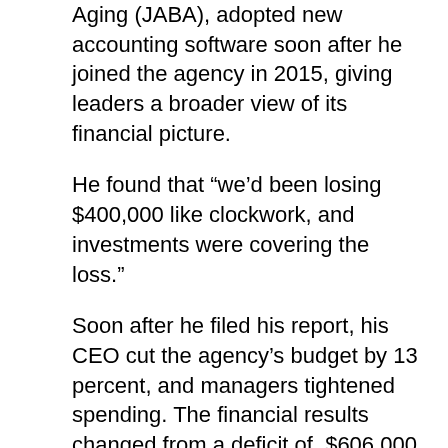Aging (JABA), adopted new accounting software soon after he joined the agency in 2015, giving leaders a broader view of its financial picture.
He found that “we’d been losing $400,000 like clockwork, and investments were covering the loss.”
Soon after he filed his report, his CEO cut the agency’s budget by 13 percent, and managers tightened spending. The financial results changed from a deficit of $606,000 in fiscal year 2015 to a surplus of $557,000 by FY 2017, creating stability for the agency.
“Given the financial information in a meaningful context, the CEO and the program managers